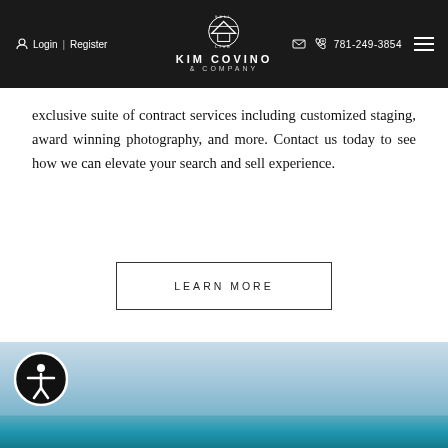Login | Register  ✉  📞 781-249-3854  KIM COVINO & COMPANY
exclusive suite of contract services including customized staging, award winning photography, and more. Contact us today to see how we can elevate your search and sell experience.
LEARN MORE
[Figure (photo): Ocean/sea horizon scene with blue sky and teal water]